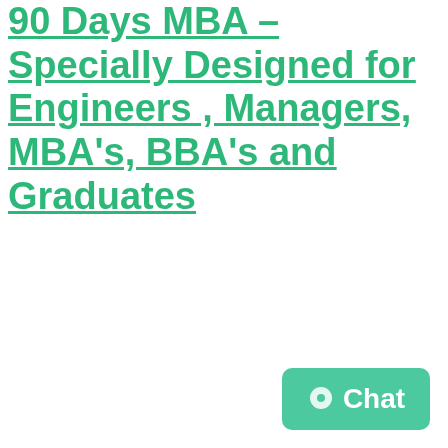90 Days MBA – Specially Designed for Engineers , Managers, MBA's, BBA's and Graduates
[Figure (other): Green rounded-rectangle chat button with a speech bubble icon and the word 'Chat']